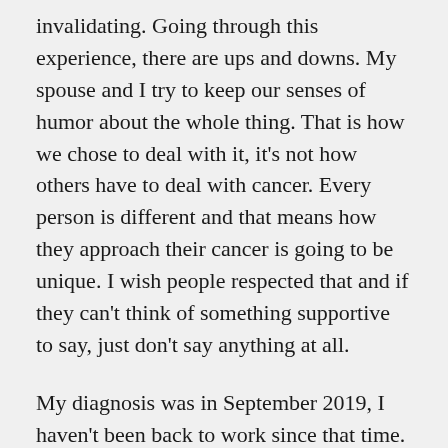invalidating. Going through this experience, there are ups and downs. My spouse and I try to keep our senses of humor about the whole thing. That is how we chose to deal with it, it's not how others have to deal with cancer. Every person is different and that means how they approach their cancer is going to be unique. I wish people respected that and if they can't think of something supportive to say, just don't say anything at all.
My diagnosis was in September 2019, I haven't been back to work since that time. Its been about 5 ½ months and I still have another 6 months of treatment to go. Most days, I'm tired